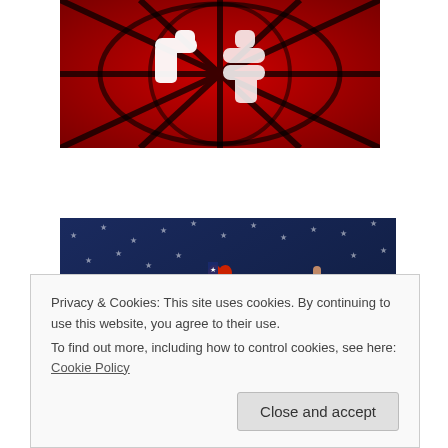[Figure (photo): Thumbs up and thumbs down white silhouettes on a red and black radial graphic background]
[Figure (photo): Trending Politics .com advertisement banner featuring a person pointing upward with a bald eagle and American flag heart logo, against a stars and stripes background]
Privacy & Cookies: This site uses cookies. By continuing to use this website, you agree to their use.
To find out more, including how to control cookies, see here: Cookie Policy
Close and accept